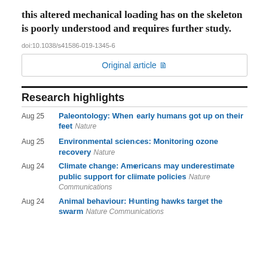this altered mechanical loading has on the skeleton is poorly understood and requires further study.
doi:10.1038/s41586-019-1345-6
Original article
Research highlights
Aug 25 — Paleontology: When early humans got up on their feet  Nature
Aug 25 — Environmental sciences: Monitoring ozone recovery  Nature
Aug 24 — Climate change: Americans may underestimate public support for climate policies  Nature Communications
Aug 24 — Animal behaviour: Hunting hawks target the swarm  Nature Communications